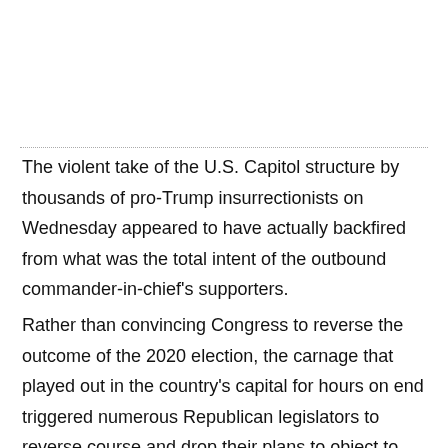The violent take of the U.S. Capitol structure by thousands of pro-Trump insurrectionists on Wednesday appeared to have actually backfired from what was the total intent of the outbound commander-in-chief's supporters.
Rather than convincing Congress to reverse the outcome of the 2020 election, the carnage that played out in the country's capital for hours on end triggered numerous Republican legislators to reverse course and drop their plans to object to certifying President-elect Joe Biden's victory.